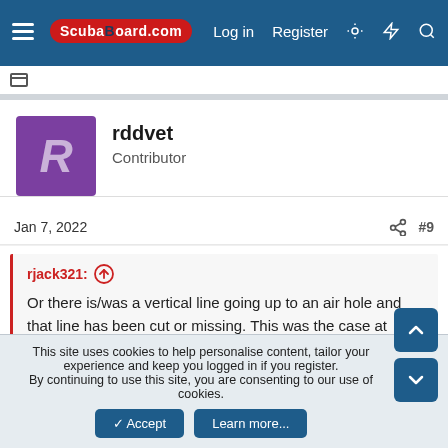ScubaBoard.com — Log in  Register
rddvet
Contributor
Jan 7, 2022  #9
rjack321: ↑
Or there is/was a vertical line going up to an air hole and that line has been cut or missing. This was the case at "emergency air cenote" in downstream Chac Mool for many years. There were arrows about 1m apart pointing towards each other and then a vertical line going up between them. I'm not remembering clearly if there was a third arrow pointing up on that vertical line or not.
This site uses cookies to help personalise content, tailor your experience and keep you logged in if you register.
By continuing to use this site, you are consenting to our use of cookies.